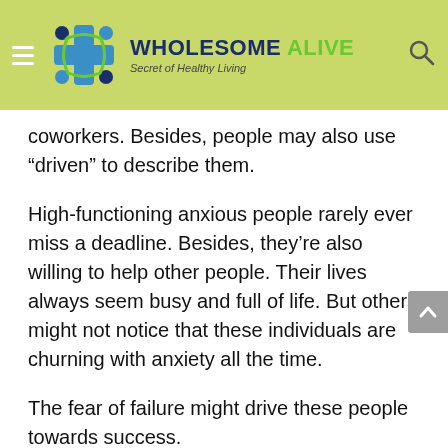WHOLESOME ALIVE — Secret of Healthy Living
coworkers. Besides, people may also use “driven” to describe them.
High-functioning anxious people rarely ever miss a deadline. Besides, they’re also willing to help other people. Their lives always seem busy and full of life. But others might not notice that these individuals are churning with anxiety all the time.
The fear of failure might drive these people towards success.